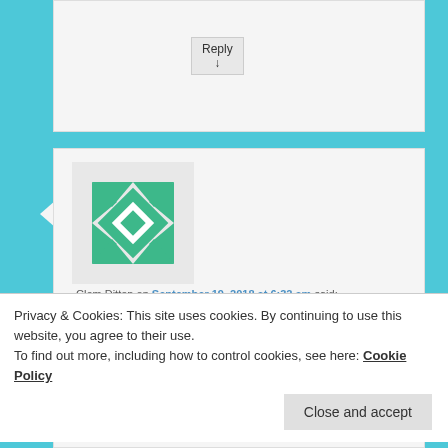Reply ↓
[Figure (illustration): Green geometric avatar icon with diamond/triangle pattern]
Clem Ditton on September 19, 2018 at 6:32 am said:
Question: If two people have a genetic distance of say 2 on 111 STR markers but their haplogroups are reported differently e.g. RS5668 and RZ16337 then could they share a MRCA within a few generations? If the answer is yes, is it because
Privacy & Cookies: This site uses cookies. By continuing to use this website, you agree to their use.
To find out more, including how to control cookies, see here: Cookie Policy
Close and accept